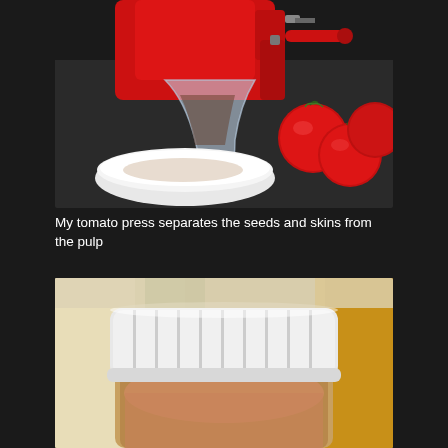[Figure (photo): Close-up of a red tomato press machine with a clear plastic chute/funnel attachment over a white bowl, with several red tomatoes visible in the background on a dark surface]
My tomato press separates the seeds and skins from the pulp
[Figure (photo): Close-up of the top of a white plastic screw-cap lid on a jar or container, with liquid visible below and blurred background]